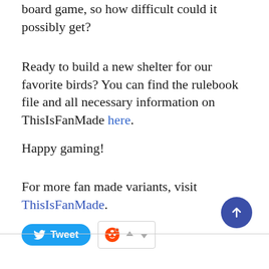board game, so how difficult could it possibly get?
Ready to build a new shelter for our favorite birds? You can find the rulebook file and all necessary information on ThisIsFanMade here.
Happy gaming!
For more fan made variants, visit ThisIsFanMade.
[Figure (screenshot): Twitter Tweet button (blue rounded rectangle with bird icon and 'Tweet' text) followed by a Reddit widget with upvote/downvote arrows inside a bordered box]
[Figure (other): A circular dark blue scroll-to-top button with an upward arrow, positioned in the lower right area]